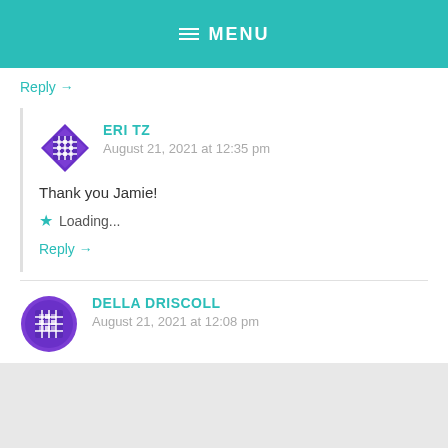≡ MENU
Reply →
ERI TZ
August 21, 2021 at 12:35 pm

Thank you Jamie!

★ Loading...

Reply →
DELLA DRISCOLL
August 21, 2021 at 12:08 pm